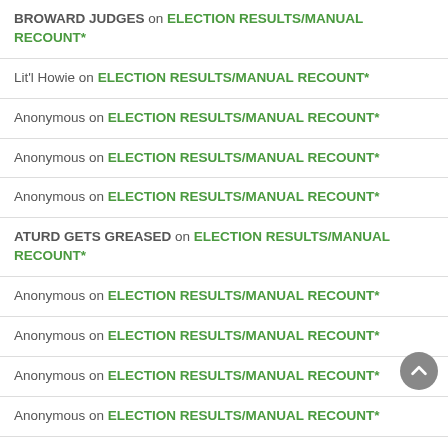BROWARD JUDGES on ELECTION RESULTS/MANUAL RECOUNT*
Lit'l Howie on ELECTION RESULTS/MANUAL RECOUNT*
Anonymous on ELECTION RESULTS/MANUAL RECOUNT*
Anonymous on ELECTION RESULTS/MANUAL RECOUNT*
Anonymous on ELECTION RESULTS/MANUAL RECOUNT*
ATURD GETS GREASED on ELECTION RESULTS/MANUAL RECOUNT*
Anonymous on ELECTION RESULTS/MANUAL RECOUNT*
Anonymous on ELECTION RESULTS/MANUAL RECOUNT*
Anonymous on ELECTION RESULTS/MANUAL RECOUNT*
Anonymous on ELECTION RESULTS/MANUAL RECOUNT*
Pryor’s mess on ELECTION RESULTS/MANUAL RECOUNT*
Anonymous on ELECTION RESULTS/MANUAL RECOUNT*